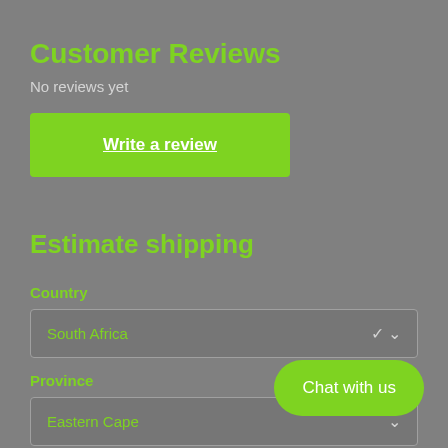Customer Reviews
No reviews yet
Write a review
Estimate shipping
Country
South Africa
Province
Eastern Cape
Chat with us